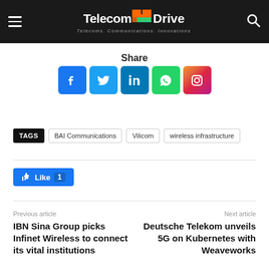Telecom Drive — Telecoms. Communications. Innovations.
Share
[Figure (infographic): Social media share buttons: Facebook, Twitter, LinkedIn, WhatsApp, Instagram]
TAGS   BAI Communications   Vilicom   wireless infrastructure
[Figure (other): Facebook Like button showing count of 1]
Previous article
IBN Sina Group picks Infinet Wireless to connect its vital institutions
Next article
Deutsche Telekom unveils 5G on Kubernetes with Weaveworks